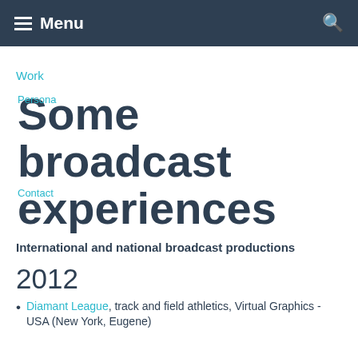Menu
Work
Persona
Some broadcast experiences
Contact
International and national broadcast productions
2012
Diamant League, track and field athletics, Virtual Graphics - USA (New York, Eugene)